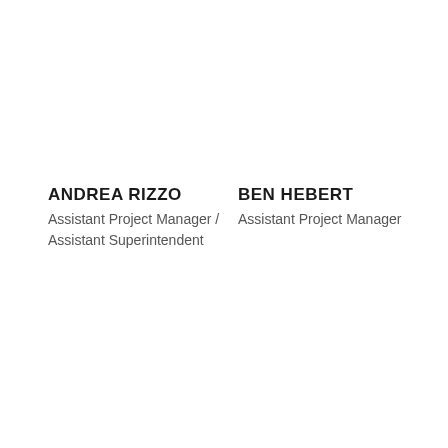ANDREA RIZZO
Assistant Project Manager / Assistant Superintendent
BEN HEBERT
Assistant Project Manager